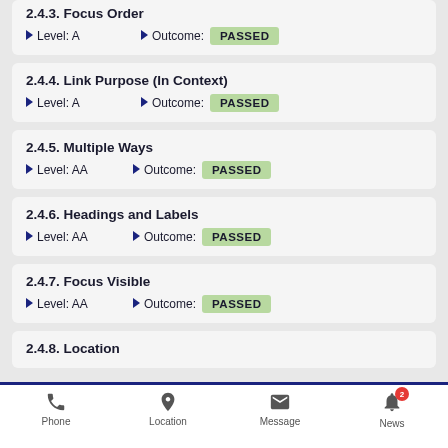2.4.3. Focus Order
Level: A  |  Outcome: PASSED
2.4.4. Link Purpose (In Context)
Level: A  |  Outcome: PASSED
2.4.5. Multiple Ways
Level: AA  |  Outcome: PASSED
2.4.6. Headings and Labels
Level: AA  |  Outcome: PASSED
2.4.7. Focus Visible
Level: AA  |  Outcome: PASSED
2.4.8. Location
Phone  Location  Message  News